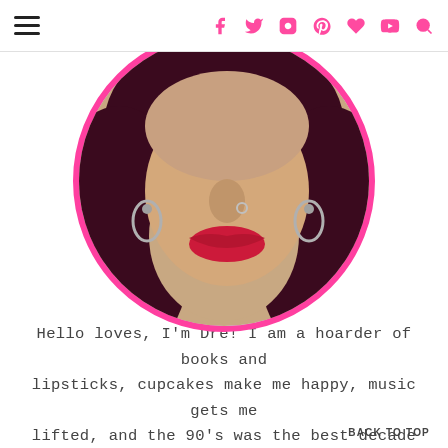≡  f  y  ○  ℗  ♥  ▶  🔍
[Figure (photo): Circular profile photo of a woman with dark burgundy hair, red lipstick, silver hoop earrings, and a nose ring. The circle has a bright pink border.]
Hello loves, I'm Dre! I am a hoarder of books and lipsticks, cupcakes make me happy, music gets me lifted, and the 90's was the best decade ever. I thank you kindly for stopping by my spa web. Come on in and make yourself comfortable.
BACK TO TOP